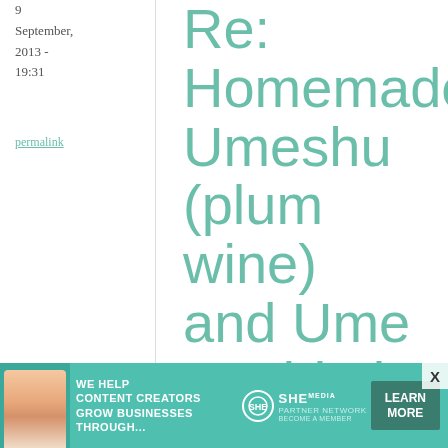9
September,
2013 -
19:31
permalink
Re: Homemade Umeshu (plum wine) and Ume Hachimitsu Sour ...
Hi Maki,
I got a bottle of rather good umeshu.Manzairaku
[Figure (infographic): Advertisement banner: SHE Partner Network. Text reads 'WE HELP CONTENT CREATORS GROW BUSINESSES THROUGH...' with SHE logo and 'LEARN MORE / BECOME A MEMBER' call to action. Teal/green background with woman photo.]